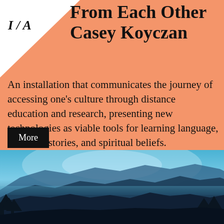From Each Other
Casey Koyczan
An installation that communicates the journey of accessing one's culture through distance education and research, presenting new technologies as viable tools for learning language, tradition, stories, and spiritual beliefs.
[Figure (photo): Blue-toned landscape photo of misty mountains and silhouetted trees at dusk or dawn]